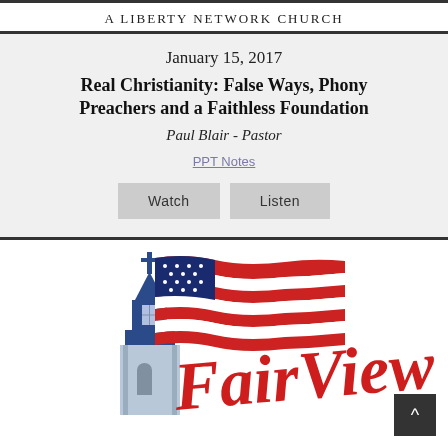A Liberty Network Church
January 15, 2017
Real Christianity: False Ways, Phony Preachers and a Faithless Foundation
Paul Blair - Pastor
PPT Notes
Watch  Listen
[Figure (logo): FairView church logo with a blue church steeple with a cross on top and an American flag waving behind it, with 'FairView' written in red cursive script]